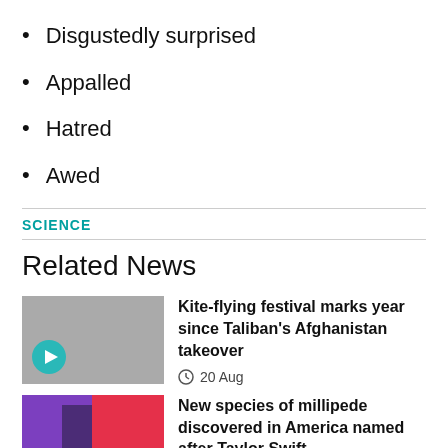Disgustedly surprised
Appalled
Hatred
Awed
SCIENCE
Related News
Kite-flying festival marks year since Taliban's Afghanistan takeover
20 Aug
New species of millipede discovered in America named after Taylor Swift